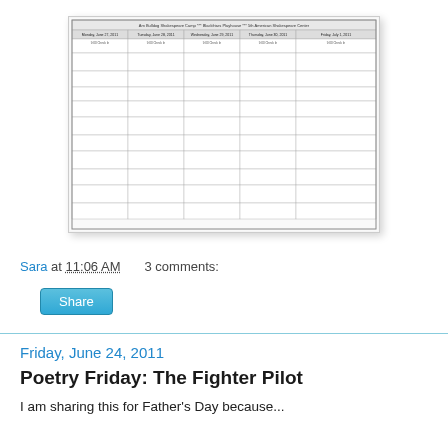[Figure (table-as-image): A detailed schedule/program grid for an American Shakespeare Center event, showing days Monday June 27 through Friday July 1 2011, with session times and event names in a complex table layout.]
Sara at 11:06 AM    3 comments:
Share
Friday, June 24, 2011
Poetry Friday: The Fighter Pilot
I am sharing this for Father's Day because...